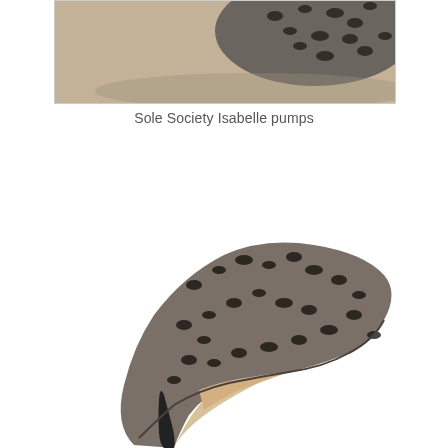[Figure (photo): Close-up top portion of a grey leopard/cheetah print pump heel against a beige/grey textured background]
Sole Society Isabelle pumps
[Figure (photo): Full side view of Sole Society Isabelle pump in grey cheetah print pattern with black stiletto heel and tan interior, shown on white background]